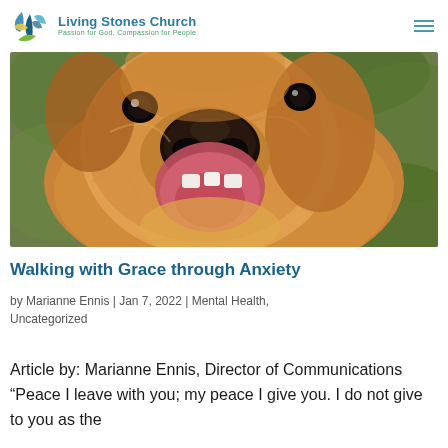Living Stones Church — Passion for God, Compassion for People
[Figure (photo): Close-up photo of a golden retriever dog with mouth open, looking up at camera with tongue visible, green blurred background]
Walking with Grace through Anxiety
by Marianne Ennis | Jan 7, 2022 | Mental Health, Uncategorized
Article by: Marianne Ennis, Director of Communications “Peace I leave with you; my peace I give you. I do not give to you as the